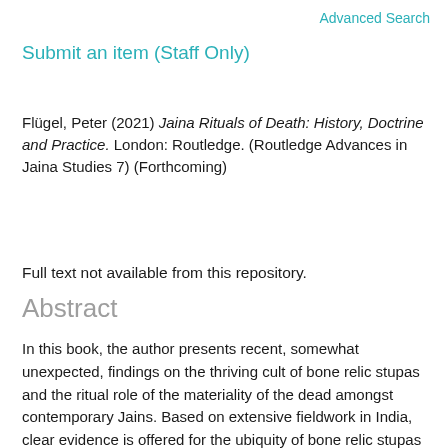Advanced Search
Submit an item (Staff Only)
Flügel, Peter (2021) Jaina Rituals of Death: History, Doctrine and Practice. London: Routledge. (Routledge Advances in Jaina Studies 7) (Forthcoming)
Full text not available from this repository.
Abstract
In this book, the author presents recent, somewhat unexpected, findings on the thriving cult of bone relic stupas and the ritual role of the materiality of the dead amongst contemporary Jains. Based on extensive fieldwork in India, clear evidence is offered for the ubiquity of bone relic stupas and relic veneration across the Jain sectarian spectrum, although classical Jain doctrine rejects the worship of material objects. The unique analysis applied in